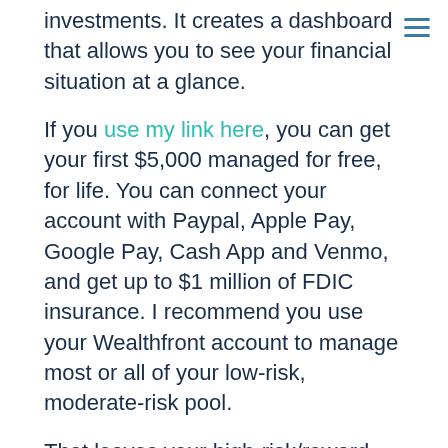Menu icon (hamburger)
investments.  It creates a dashboard that allows you to see your financial situation at a glance.
If you use my link here, you can get your first $5,000 managed for free, for life.  You can connect your account with Paypal, Apple Pay, Google Pay, Cash App and Venmo, and get up to $1 million of FDIC insurance.  I recommend you use your Wealthfront account to manage most or all of your low-risk, moderate-risk pool.
That leaves your high-risk/reward pool.  If you do the work in the first two modules – and you feel comfortable doing it – then I recommend setting up a trading account with the Robin Hood app.  This is another service I just adore